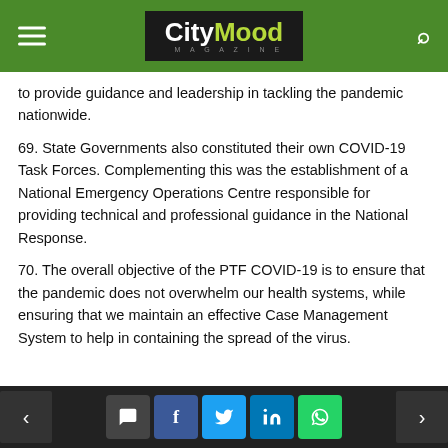CityMood Magazine
to provide guidance and leadership in tackling the pandemic nationwide.
69. State Governments also constituted their own COVID-19 Task Forces. Complementing this was the establishment of a National Emergency Operations Centre responsible for providing technical and professional guidance in the National Response.
70. The overall objective of the PTF COVID-19 is to ensure that the pandemic does not overwhelm our health systems, while ensuring that we maintain an effective Case Management System to help in containing the spread of the virus.
Navigation and social share buttons